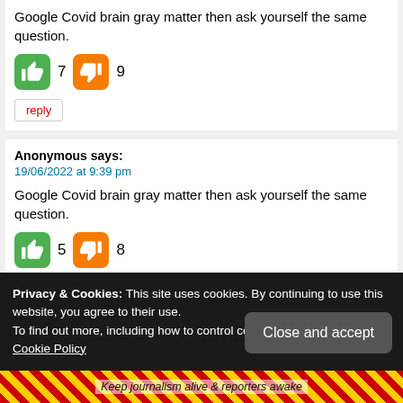Google Covid brain gray matter then ask yourself the same question.
[Figure (other): Thumbs up (green, count 7) and thumbs down (orange, count 9) vote buttons]
reply
Anonymous says:
19/06/2022 at 9:39 pm
Google Covid brain gray matter then ask yourself the same question.
[Figure (other): Thumbs up (green, count 5) and thumbs down (orange, count 8) vote buttons]
Privacy & Cookies: This site uses cookies. By continuing to use this website, you agree to their use.
To find out more, including how to control cookies, see here: Privacy & Cookie Policy
Keep journalism alive & reporters awake